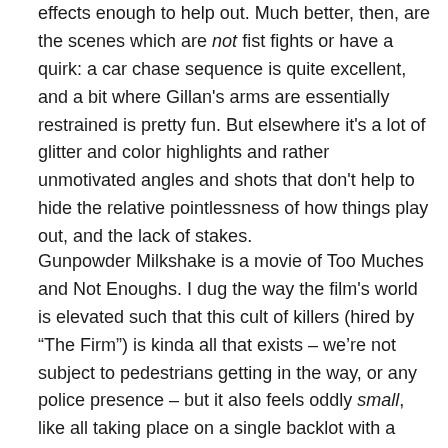effects enough to help out. Much better, then, are the scenes which are not fist fights or have a quirk: a car chase sequence is quite excellent, and a bit where Gillan's arms are essentially restrained is pretty fun. But elsewhere it's a lot of glitter and color highlights and rather unmotivated angles and shots that don't help to hide the relative pointlessness of how things play out, and the lack of stakes.
Gunpowder Milkshake is a movie of Too Muches and Not Enoughs. I dug the way the film's world is elevated such that this cult of killers (hired by "The Firm") is kinda all that exists – we're not subject to pedestrians getting in the way, or any police presence – but it also feels oddly small, like all taking place on a single backlot with a couple of neon-lit sets. The continual nods to action film heroes show appreciation for the generic space in which the film is